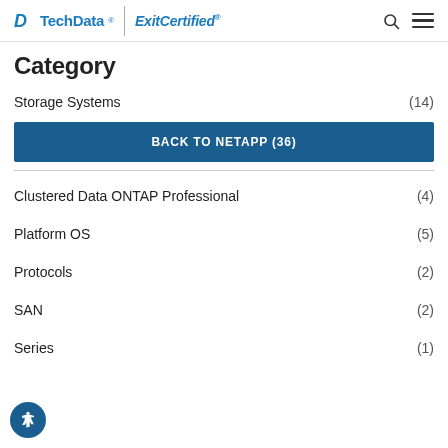Tech Data | ExitCertified
Category
Storage Systems (14)
BACK TO NETAPP (36)
Clustered Data ONTAP Professional (4)
Platform OS (5)
Protocols (2)
SAN (2)
Series (1)